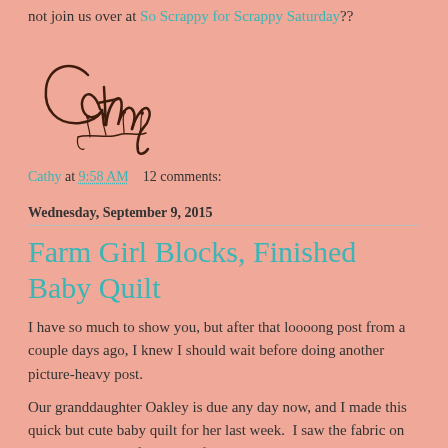not join us over at So Scrappy for Scrappy Saturday??
[Figure (illustration): Handwritten cursive signature reading 'Cathy' with a small decorative floral/vine embellishment below]
Cathy at 9:58 AM    12 comments:
Wednesday, September 9, 2015
Farm Girl Blocks, Finished Baby Quilt
I have so much to show you, but after that loooong post from a couple days ago, I knew I should wait before doing another picture-heavy post.
Our granddaughter Oakley is due any day now, and I made this quick but cute baby quilt for her last week.  I saw the fabric on clearance at one of my most favorite quilt stores, Thimbles and Threads, and grabbed what I could. Turns out